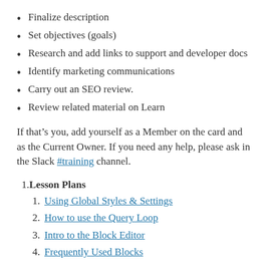Finalize description
Set objectives (goals)
Research and add links to support and developer docs
Identify marketing communications
Carry out an SEO review.
Review related material on Learn
If that's you, add yourself as a Member on the card and as the Current Owner. If you need any help, please ask in the Slack #training channel.
Lesson Plans
Using Global Styles & Settings
How to use the Query Loop
Intro to the Block Editor
Frequently Used Blocks